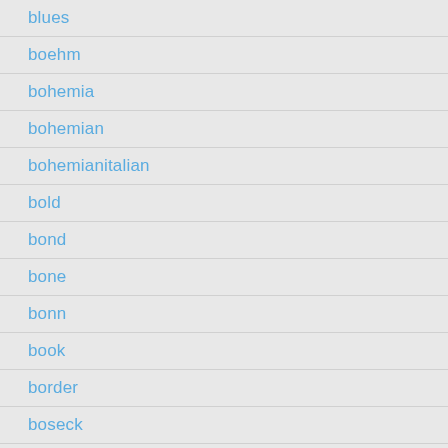blues
boehm
bohemia
bohemian
bohemianitalian
bold
bond
bone
bonn
book
border
boseck
botanical